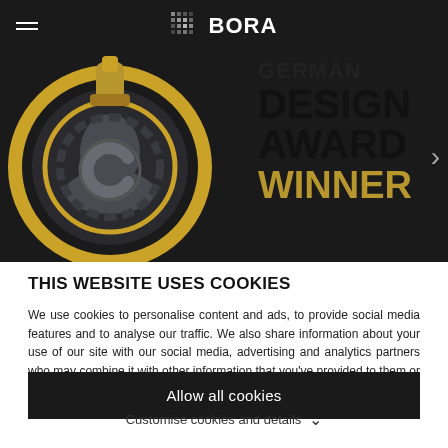BORA
[Figure (illustration): German Design Award Winner badge/medal on dark background with gold and dark circular medal on left, text 'GERMAN DESIGN AWARD WINNER' on right with navigation chevron]
THIS WEBSITE USES COOKIES
We use cookies to personalise content and ads, to provide social media features and to analyse our traffic. We also share information about your use of our site with our social media, advertising and analytics partners who may combine it with other information that you've provided to them or that they've collected from your use of their services.
Allow all cookies
Customise cookies and details